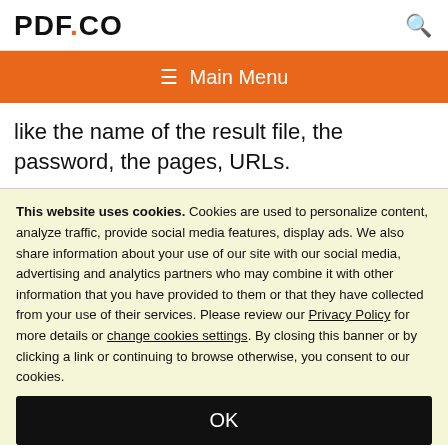PDF.CO
[Figure (other): Orange navigation bar with hamburger menu icon and 'Main Menu' text]
like the name of the result file, the password, the pages, URLs.
This website uses cookies. Cookies are used to personalize content, analyze traffic, provide social media features, display ads. We also share information about your use of our site with our social media, advertising and analytics partners who may combine it with other information that you have provided to them or that they have collected from your use of their services. Please review our Privacy Policy for more details or change cookies settings. By closing this banner or by clicking a link or continuing to browse otherwise, you consent to our cookies.
OK